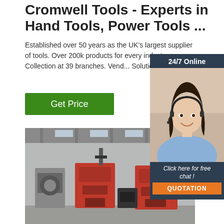Cromwell Tools - Experts in Hand Tools, Power Tools ...
Established over 50 years as the UK's largest supplier of tools. Over 200k products for every industry. Collection at 39 branches. Vend... Solutions and Te
Get Price
[Figure (photo): Industrial factory floor with red CNC or band-saw machines in a large warehouse setting]
[Figure (photo): Chat widget showing: '24/7 Online' heading, photo of smiling woman with headset, 'Click here for free chat!' text, and orange QUOTATION button]